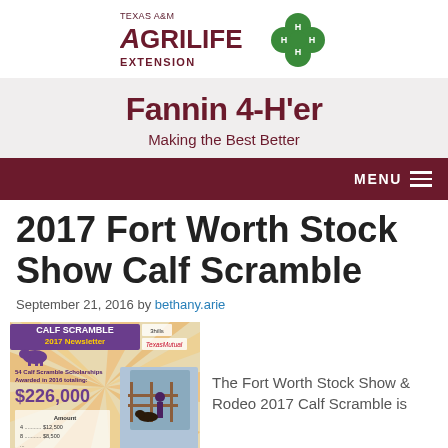[Figure (logo): Texas A&M AgriLife Extension logo with 4-H clover]
Fannin 4-H'er
Making the Best Better
MENU
2017 Fort Worth Stock Show Calf Scramble
September 21, 2016 by bethany.arie
[Figure (screenshot): Calf Scramble 2017 Newsletter showing $226,000 in scholarships]
The Fort Worth Stock Show & Rodeo 2017 Calf Scramble is